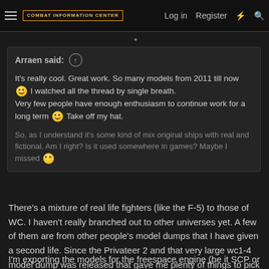COMBAT INFORMATION CENTER | Log in | Register
Arraen said: ↑
It's really cool. Great work. So many models from 2011 till now :) I watched all the thread by single breath.
Very few people have enough enthusiasm to continue work for a long term :) Take off my hat.

So, as I understand it's some kind of mix original ships with real and fictional. Am I right? Is it used somewhere in games? Maybe I missed
There's a mixture of real life fighters (like the F-5) to those of WC. I haven't really branched out to other universes yet. A few of them are from other people's model dumps that I have given a second life. Since the Privateer 2 and that very large wc1-4 model dump was released that gave me plenty of things to pick through.
I'm exporting the models for the freespace engine (be it SCP or